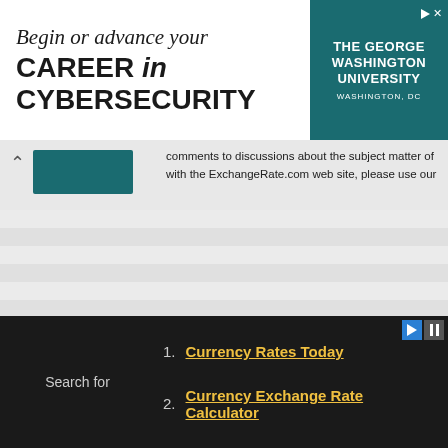[Figure (other): Advertisement banner for The George Washington University Cybersecurity program. Text reads 'Begin or advance your CAREER in CYBERSECURITY' with the university logo on the right.]
comments to discussions about the subject matter of with the ExchangeRate.com web site, please use our
1. Currency Rates Today
2. Currency Exchange Rate Calculator
Search for